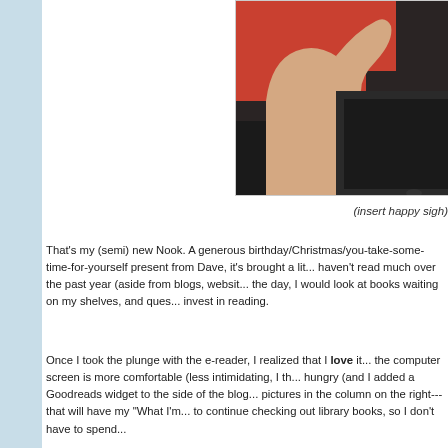[Figure (photo): Close-up photo of a hand holding a Nook e-reader device against a red and dark background]
(insert happy sigh)
That's my (semi) new Nook. A generous birthday/Christmas/you-take-some-time-for-yourself present from Dave, it's brought a lit... haven't read much over the past year (aside from blogs, websit... the day, I would look at books waiting on my shelves, and ques... invest in reading.
Once I took the plunge with the e-reader, I realized that I love it... the computer screen is more comfortable (less intimidating, I th... hungry (and I added a Goodreads widget to the side of the blog... pictures in the column on the right---that will have my "What I'm... to continue checking out library books, so I don't have to spend...